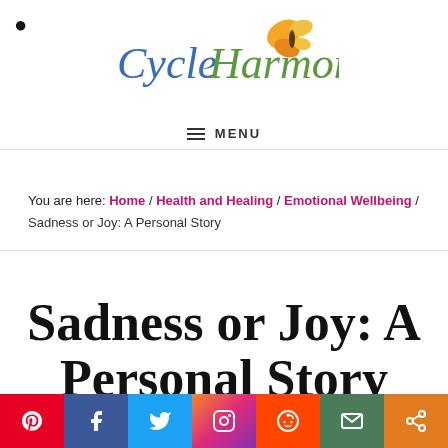CycleHarmony (logo with butterfly)
≡ MENU
You are here: Home / Health and Healing / Emotional Wellbeing / Sadness or Joy: A Personal Story
Sadness or Joy: A Personal Story
[Figure (other): Social sharing bar with Pinterest, Facebook, Twitter, Instagram, Reddit, Email, and Share buttons]